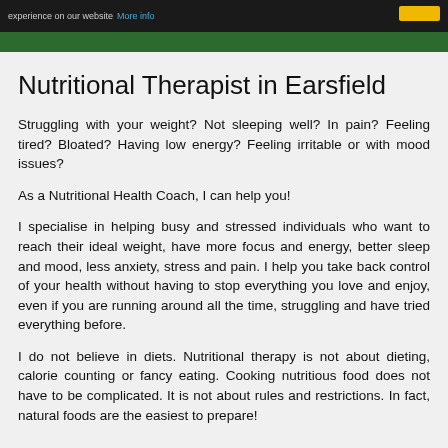experience on our website More info
Nutritional Therapist in Earsfield
Struggling with your weight? Not sleeping well? In pain? Feeling tired? Bloated? Having low energy? Feeling irritable or with mood issues?
As a Nutritional Health Coach, I can help you!
I specialise in helping busy and stressed individuals who want to reach their ideal weight, have more focus and energy, better sleep and mood, less anxiety, stress and pain. I help you take back control of your health without having to stop everything you love and enjoy, even if you are running around all the time, struggling and have tried everything before.
I do not believe in diets. Nutritional therapy is not about dieting, calorie counting or fancy eating. Cooking nutritious food does not have to be complicated. It is not about rules and restrictions. In fact, natural foods are the easiest to prepare!